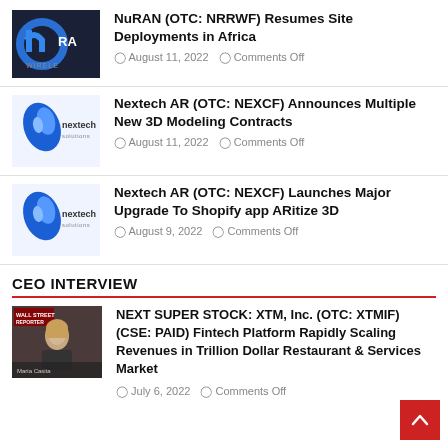[Figure (logo): NuRAN Wireless logo — dark circle with 'nu' shape and 'RA' text, 'WIRELESS' below]
NuRAN (OTC: NRRWF) Resumes Site Deployments in Africa
August 11, 2022   Comments Off
[Figure (logo): Nextech Solutions logo — blue teardrop/leaf shape with 'nextech solutions' text]
Nextech AR (OTC: NEXCF) Announces Multiple New 3D Modeling Contracts
August 11, 2022   Comments Off
[Figure (logo): Nextech Solutions logo — blue teardrop/leaf shape with 'nextech solutions' text]
Nextech AR (OTC: NEXCF) Launches Major Upgrade To Shopify app ARitize 3D
August 9, 2022   Comments Off
CEO INTERVIEW
[Figure (photo): CEO interview thumbnail showing a woman with blonde hair, Wall Street Reporter branding]
NEXT SUPER STOCK: XTM, Inc. (OTC: XTMIF) (CSE: PAID) Fintech Platform Rapidly Scaling Revenues in Trillion Dollar Restaurant & Services Market
July 6, 2022   Comments Off